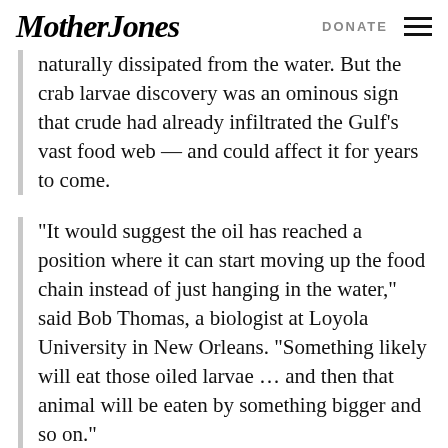Mother Jones | DONATE
naturally dissipated from the water. But the crab larvae discovery was an ominous sign that crude had already infiltrated the Gulf's vast food web — and could affect it for years to come.
“It would suggest the oil has reached a position where it can start moving up the food chain instead of just hanging in the water,” said Bob Thomas, a biologist at Loyola University in New Orleans. “Something likely will eat those oiled larvae … and then that animal will be eaten by something bigger and so on.”